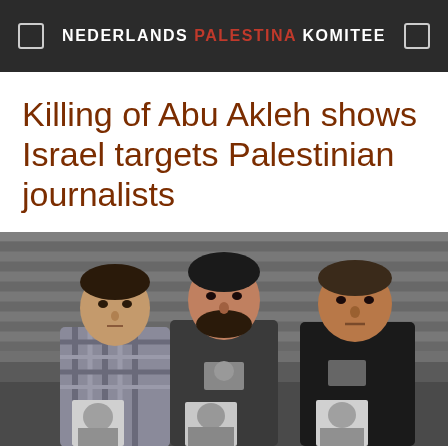NEDERLANDS PALESTINA KOMITEE
Killing of Abu Akleh shows Israel targets Palestinian journalists
[Figure (photo): Three men sitting behind a table, each holding or displaying a portrait photo of Shireen Abu Akleh. They appear to be at a press conference or memorial. The background shows grey horizontal blinds/shutters.]